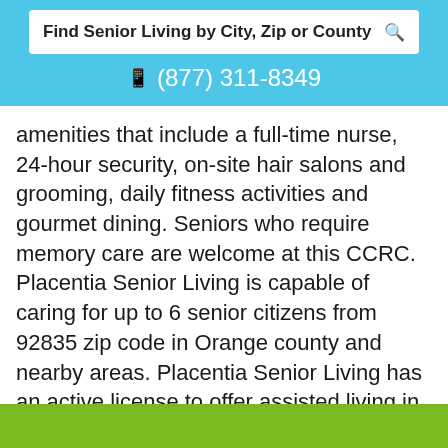Find Senior Living by City, Zip or County   (877) 311-8349
amenities that include a full-time nurse, 24-hour security, on-site hair salons and grooming, daily fitness activities and gourmet dining. Seniors who require memory care are welcome at this CCRC. Placentia Senior Living is capable of caring for up to 6 senior citizens from 92835 zip code in Orange county and nearby areas. Placentia Senior Living has an active license to offer assisted living in Fullerton, California License number: 306005237.
(877) 659-8659